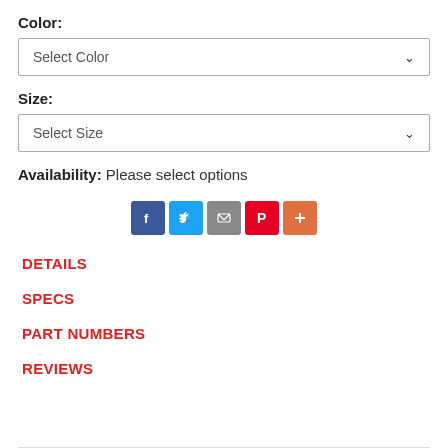Color:
[Figure (screenshot): Dropdown selector showing 'Select Color' with chevron arrow]
Size:
[Figure (screenshot): Dropdown selector showing 'Select Size' with chevron arrow]
Availability: Please select options
[Figure (infographic): Social sharing icons: Facebook (blue), Twitter (light blue), Email (gray), Pinterest (red), More/Plus (orange)]
DETAILS
SPECS
PART NUMBERS
REVIEWS